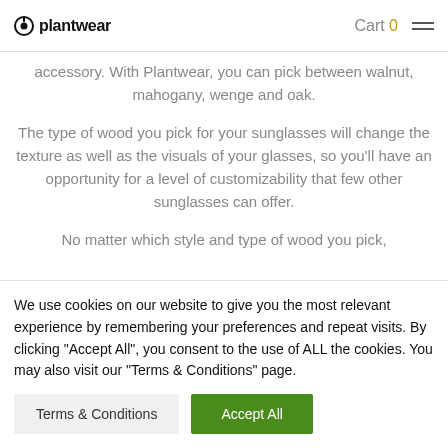plantwear | Cart 0
accessory. With Plantwear, you can pick between walnut, mahogany, wenge and oak.
The type of wood you pick for your sunglasses will change the texture as well as the visuals of your glasses, so you'll have an opportunity for a level of customizability that few other sunglasses can offer.
No matter which style and type of wood you pick,
We use cookies on our website to give you the most relevant experience by remembering your preferences and repeat visits. By clicking "Accept All", you consent to the use of ALL the cookies. You may also visit our "Terms & Conditions" page.
Terms & Conditions | Accept All